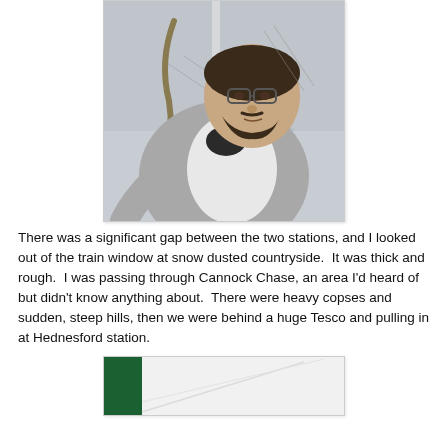[Figure (photo): Selfie of a bearded man with glasses wearing a grey jacket and white shirt, standing in front of a metal fence with a construction site or industrial area in the background. Overcast sky visible.]
There was a significant gap between the two stations, and I looked out of the train window at snow dusted countryside.  It was thick and rough.  I was passing through Cannock Chase, an area I'd heard of but didn't know anything about.  There were heavy copses and sudden, steep hills, then we were behind a huge Tesco and pulling in at Hednesford station.
[Figure (photo): Partial image showing what appears to be a train station or platform sign, with a dark green element on the left and pale lines on a light background.]